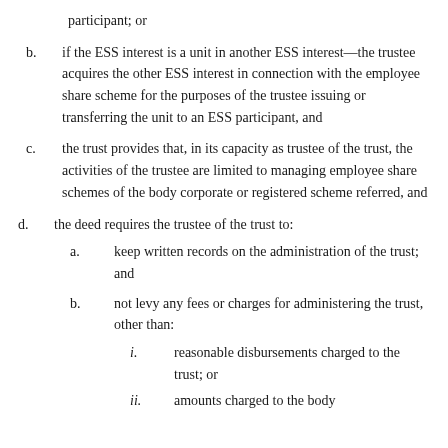participant; or
b. if the ESS interest is a unit in another ESS interest—the trustee acquires the other ESS interest in connection with the employee share scheme for the purposes of the trustee issuing or transferring the unit to an ESS participant, and
c. the trust provides that, in its capacity as trustee of the trust, the activities of the trustee are limited to managing employee share schemes of the body corporate or registered scheme referred, and
d. the deed requires the trustee of the trust to:
a. keep written records on the administration of the trust; and
b. not levy any fees or charges for administering the trust, other than:
i. reasonable disbursements charged to the trust; or
ii. amounts charged to the body